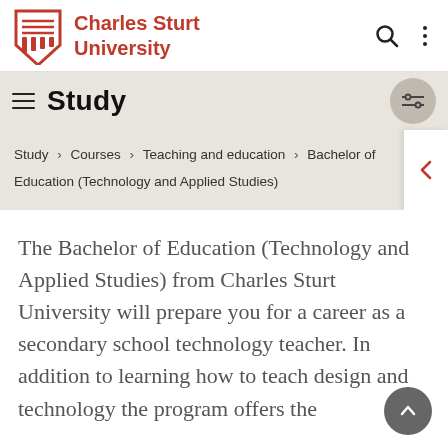Charles Sturt University
Study
Study › Courses › Teaching and education › Bachelor of Education (Technology and Applied Studies)
The Bachelor of Education (Technology and Applied Studies) from Charles Sturt University will prepare you for a career as a secondary school technology teacher. In addition to learning how to teach design and technology the program offers the